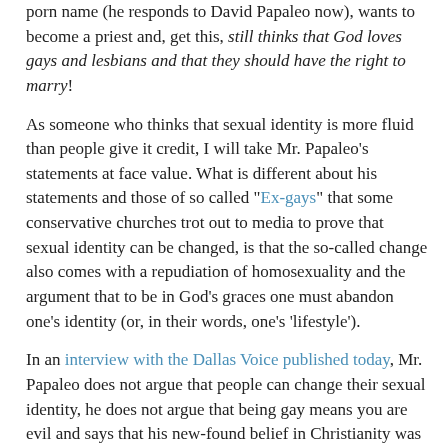porn name (he responds to David Papaleo now), wants to become a priest and, get this, still thinks that God loves gays and lesbians and that they should have the right to marry!
As someone who thinks that sexual identity is more fluid than people give it credit, I will take Mr. Papaleo's statements at face value. What is different about his statements and those of so called "Ex-gays" that some conservative churches trot out to media to prove that sexual identity can be changed, is that the so-called change also comes with a repudiation of homosexuality and the argument that to be in God's graces one must abandon one's identity (or, in their words, one's 'lifestyle').
In an interview with the Dallas Voice published today, Mr. Papaleo does not argue that people can change their sexual identity, he does not argue that being gay means you are evil and says that his new-found belief in Christianity was not a catalyst for now leading a straight life (he is now a married man).
He does share some other interesting points of view.
Of his experience as a porn star he says: "I don't think that erotica or sexuality is a bad thing. I believe that sex is the strongest